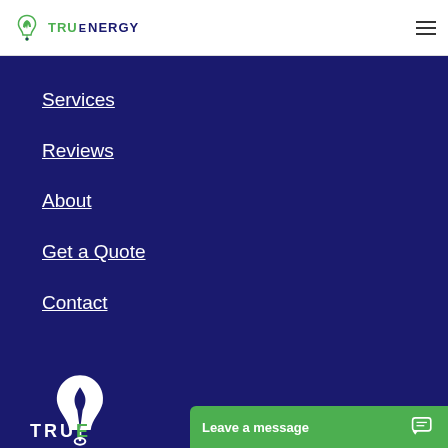TRUENERGY logo and hamburger menu
Services
Reviews
About
Get a Quote
Contact
[Figure (logo): TruEnergy large white logo at bottom of navigation drawer]
Leave a message